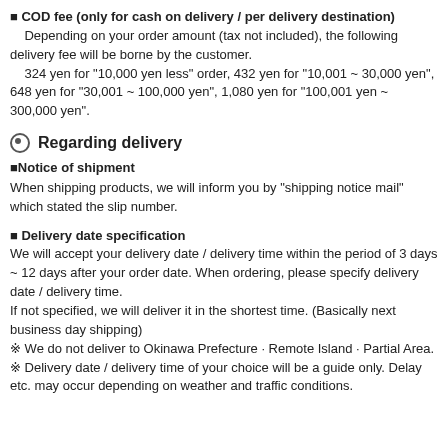■ COD fee (only for cash on delivery / per delivery destination)
    Depending on your order amount (tax not included), the following delivery fee will be borne by the customer.
    324 yen for "10,000 yen less" order, 432 yen for "10,001 ~ 30,000 yen", 648 yen for "30,001 ~ 100,000 yen", 1,080 yen for "100,001 yen ~ 300,000 yen".
Regarding delivery
■Notice of shipment
When shipping products, we will inform you by "shipping notice mail" which stated the slip number.
■ Delivery date specification
We will accept your delivery date / delivery time within the period of 3 days ~ 12 days after your order date. When ordering, please specify delivery date / delivery time.
If not specified, we will deliver it in the shortest time. (Basically next business day shipping)
※ We do not deliver to Okinawa Prefecture · Remote Island · Partial Area.
※ Delivery date / delivery time of your choice will be a guide only. Delay etc. may occur depending on weather and traffic conditions.